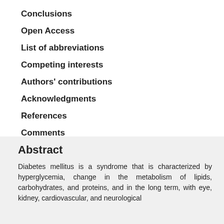Conclusions
Open Access
List of abbreviations
Competing interests
Authors' contributions
Acknowledgments
References
Comments
Abstract
Diabetes mellitus is a syndrome that is characterized by hyperglycemia, change in the metabolism of lipids, carbohydrates, and proteins, and in the long term, with eye, kidney, cardiovascular, and neurological